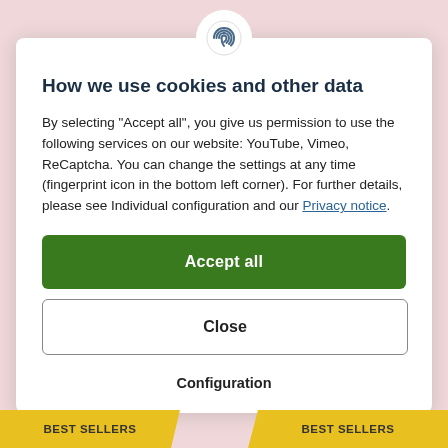[Figure (logo): Fingerprint icon in a white circle at the top center of the modal dialog]
How we use cookies and other data
By selecting "Accept all", you give us permission to use the following services on our website: YouTube, Vimeo, ReCaptcha. You can change the settings at any time (fingerprint icon in the bottom left corner). For further details, please see Individual configuration and our Privacy notice.
Accept all
Close
Configuration
[Figure (infographic): Two yellow 'BEST SELLERS' ribbon banners at the bottom of the page, one on the left and one on the right]